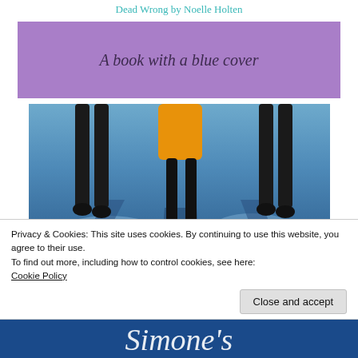Dead Wrong by Noelle Holten
[Figure (other): Purple banner with italic text 'A book with a blue cover']
[Figure (photo): Three people walking, seen from the waist down, on a reflective blue surface. The person in the center wears an orange/yellow skirt and black stockings. Blue shadows cast on the floor.]
Privacy & Cookies: This site uses cookies. By continuing to use this website, you agree to their use.
To find out more, including how to control cookies, see here:
Cookie Policy
[Figure (other): Bottom partial image with blue background and white cursive/decorative text, partially visible]